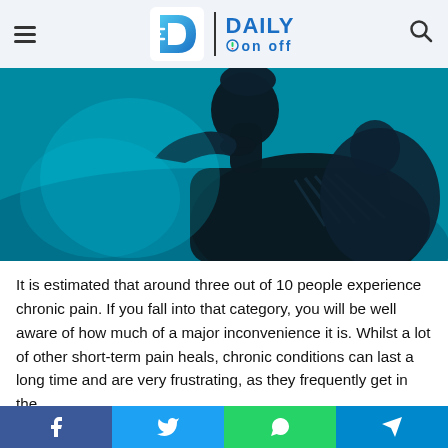[Figure (logo): Daily On Off website logo with hamburger menu and search icon in header]
[Figure (photo): Silhouette of a person holding their head in distress against a teal/cyan background, suggesting chronic pain or stress]
It is estimated that around three out of 10 people experience chronic pain. If you fall into that category, you will be well aware of how much of a major inconvenience it is. Whilst a lot of other short-term pain heals, chronic conditions can last a long time and are very frustrating, as they frequently get in the way of daily activities.